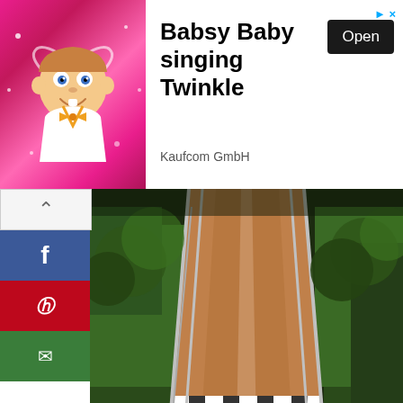[Figure (screenshot): Advertisement banner for Babsy Baby singing Twinkle by Kaufcom GmbH with animated baby character on pink background and Open button]
[Figure (photo): Overhead walkway/bridge at Disney's Epcot Spaceship Earth surrounded by green trees, taken from above looking down the ramp]
Spaceship Earth at Disney's Epcot is perfect while you are pregnant. Photo credit: officialflorida.com.
Disney's Animal Kingdom Attractions While Pregnant
Always Recommended